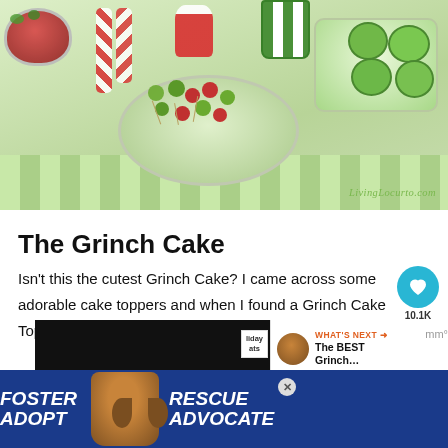[Figure (photo): Party table with Grinch-themed food including a bowl of red and green M&Ms, a plate of grape and cherry cake pops, green-frosted cookies, and decorative items. Watermark reads LivingLocurto.com]
The Grinch Cake
Isn't this the cutest Grinch Cake? I came across some adorable cake toppers and when I found a Grinch Cake Topper, I knew it would be perfect for the party.
[Figure (screenshot): Advertisement banner: dark overlay ad on top, and FOSTER RESCUE ADOPT ADVOCATE ad with a dog photo at the bottom. Close buttons visible.]